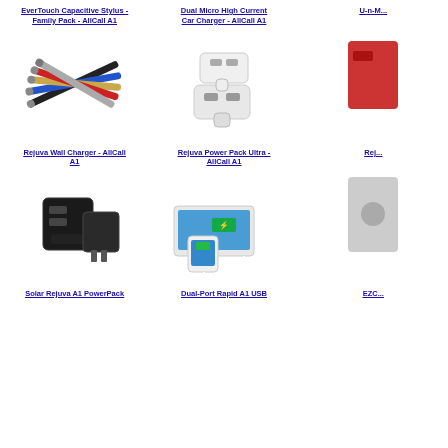EverTouch Capacitive Stylus - Family Pack - AllCall A1
[Figure (photo): Multiple colored capacitive stylus pens fanned out]
Dual Micro High Current Car Charger - AllCall A1
[Figure (photo): White dual USB car charger adapter]
U-n-M... (partially visible)
[Figure (photo): Partially visible red product]
Rejuva Wall Charger - AllCall A1
[Figure (photo): Black wall charger with USB ports and foldable prongs]
Rejuva Power Pack Ultra - AllCall A1
[Figure (photo): White power bank connected to smartphone and tablet]
Rej... (partially visible)
[Figure (photo): Partially visible product]
Solar Rejuva A1 PowerPack
Dual-Port Rapid A1 USB
EZC...